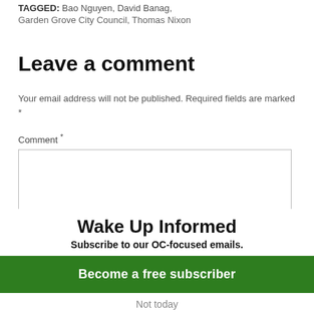TAGGED: Bao Nguyen, David Banag, Garden Grove City Council, Thomas Nixon
Leave a comment
Your email address will not be published. Required fields are marked *
Comment *
Wake Up Informed
Subscribe to our OC-focused emails.
Become a free subscriber
Not today